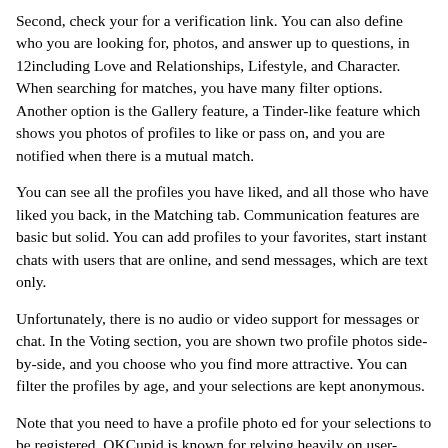Second, check your for a verification link. You can also define who you are looking for, photos, and answer up to questions, in 12including Love and Relationships, Lifestyle, and Character. When searching for matches, you have many filter options. Another option is the Gallery feature, a Tinder-like feature which shows you photos of profiles to like or pass on, and you are notified when there is a mutual match.
You can see all the profiles you have liked, and all those who have liked you back, in the Matching tab. Communication features are basic but solid. You can add profiles to your favorites, start instant chats with users that are online, and send messages, which are text only.
Unfortunately, there is no audio or video support for messages or chat. In the Voting section, you are shown two profile photos side-by-side, and you choose who you find more attractive. You can filter the profiles by age, and your selections are kept anonymous.
Note that you need to have a profile photo ed for your selections to be registered. OKCupid is known for relying heavily on user-provided data to find better matches for its diverse user base. This free service lets you answer as many or as few questions as you prefer, and it uses your responses to calculate good potential partners. Although OKCupid targets a massive international crowd,